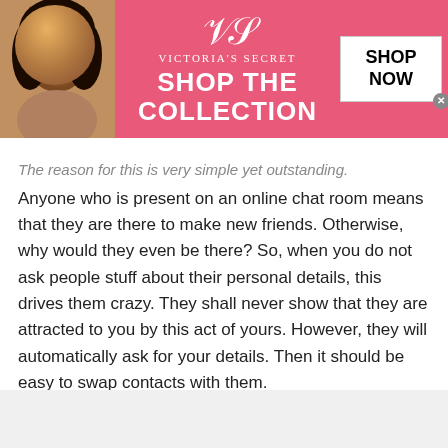[Figure (screenshot): Victoria's Secret advertisement banner: pink background with model photo on left, VS logo and 'SHOP THE COLLECTION' text in center, white 'SHOP NOW' button on right]
The reason for this is very simple yet outstanding. Anyone who is present on an online chat room means that they are there to make new friends. Otherwise, why would they even be there? So, when you do not ask people stuff about their personal details, this drives them crazy. They shall never show that they are attracted to you by this act of yours. However, they will automatically ask for your details. Then it should be easy to swap contacts with them.
[Figure (screenshot): Wayfair.com online advertisement: thumbnail of bedroom furniture on left, 'Wayfair.com - Online Home Store Sale!' title in blue, description text, www.wayfair.com URL in green, blue circular arrow button on right]